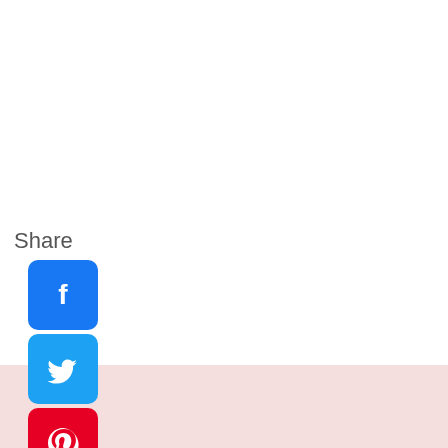Share
[Figure (illustration): Social media share icons column: Facebook (blue), Twitter (light blue), Pinterest (red), Tumblr (dark navy), Reddit (orange), WhatsApp (green)]
[Figure (illustration): Pink/rose footer bar with a left-pointing triangle/back arrow on the left side]